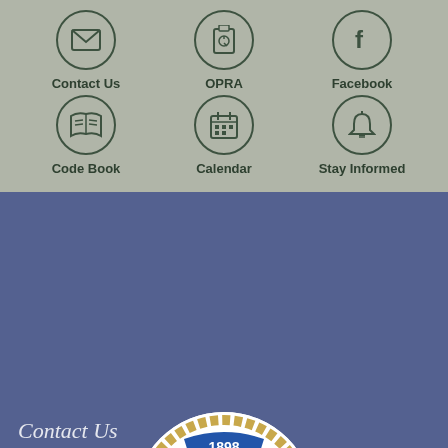[Figure (infographic): Six icon buttons arranged in two rows: Contact Us (envelope), OPRA (clipboard), Facebook (f logo), Code Book (open book), Calendar (calendar grid), Stay Informed (bell)]
[Figure (logo): Municipal seal dated 1898 with wreath, shield showing tools and symbols, on blue/purple background]
Contact Us